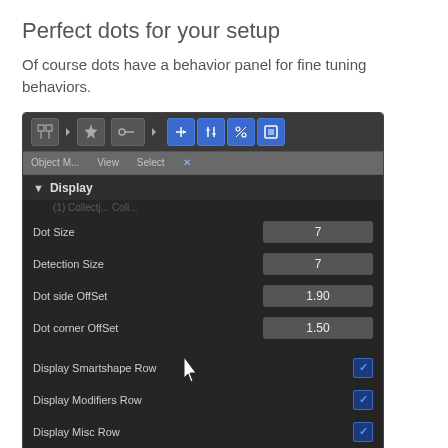Perfect dots for your setup
Of course dots have a behavior panel for fine tuning behaviors.
[Figure (screenshot): A dark Blender-style properties panel showing Display settings with fields: Dot Size=7, Detection Size=7, Dot side OffSet=1.90, Dot corner OffSet=1.50, and checkboxes for Display Smartshape Row, Display Modifiers Row, Display Misc Row (all checked), and a collapsed Behavior section. Toolbar icons visible at top.]